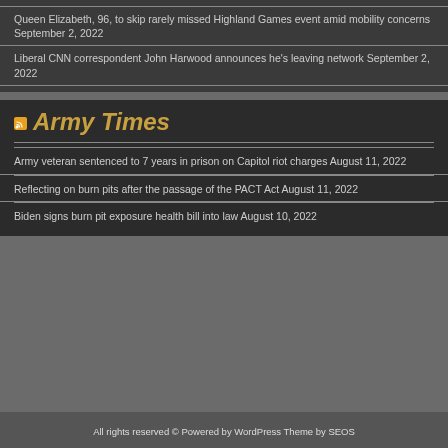Queen Elizabeth, 96, to skip rarely missed Highland Games event amid mobility concerns September 2, 2022
Liberal CNN correspondent John Harwood announces he's leaving network September 2, 2022
Army Times
Army veteran sentenced to 7 years in prison on Capitol riot charges August 11, 2022
Reflecting on burn pits after the passage of the PACT Act August 11, 2022
Biden signs burn pit exposure health bill into law August 10, 2022
All rights reserved © Powered by WordPress Theme by SEOS